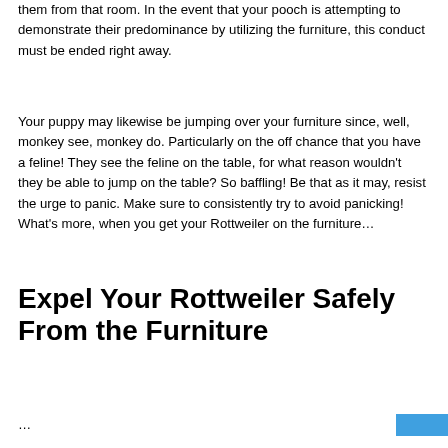them from that room. In the event that your pooch is attempting to demonstrate their predominance by utilizing the furniture, this conduct must be ended right away.
Your puppy may likewise be jumping over your furniture since, well, monkey see, monkey do. Particularly on the off chance that you have a feline! They see the feline on the table, for what reason wouldn't they be able to jump on the table? So baffling! Be that as it may, resist the urge to panic. Make sure to consistently try to avoid panicking! What's more, when you get your Rottweiler on the furniture…
Expel Your Rottweiler Safely From the Furniture
…